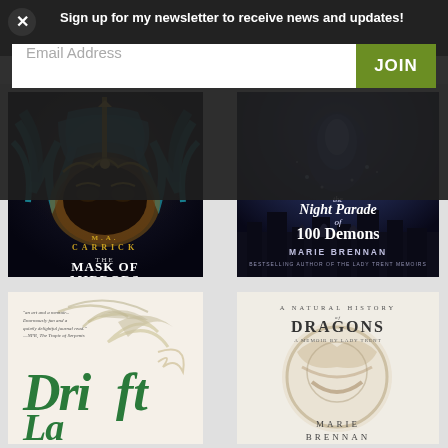Sign up for my newsletter to receive news and updates!
ALSO AVAILABLE
[Figure (illustration): Book cover: THE MASK OF MIRRORS by M.A. CARRICK — ornate blue and gold masquerade mask with feathers against a dark background]
[Figure (illustration): Book cover: The Night Parade of 100 Demons by MARIE BRENNAN — dark blue fantasy scene with robed figure and floating lights above a city]
[Figure (illustration): Book cover: DRIFT (partial title visible) — green decorative lettering on a white background with bird/wing illustration]
[Figure (illustration): Book cover: A NATURAL HISTORY OF DRAGONS: A Memoir by Lady Trent by MARIE BRENNAN — pale cover with circular sculptural dragon element]